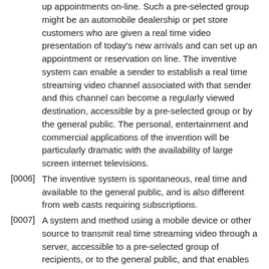up appointments on-line. Such a pre-selected group might be an automobile dealership or pet store customers who are given a real time video presentation of today's new arrivals and can set up an appointment or reservation on line. The inventive system can enable a sender to establish a real time streaming video channel associated with that sender and this channel can become a regularly viewed destination, accessible by a pre-selected group or by the general public. The personal, entertainment and commercial applications of the invention will be particularly dramatic with the availability of large screen internet televisions.
[0006] The inventive system is spontaneous, real time and available to the general public, and is also different from web casts requiring subscriptions.
[0007] A system and method using a mobile device or other source to transmit real time streaming video through a server, accessible to a pre-selected group of recipients, or to the general public, and that enables such recipients to take actions in